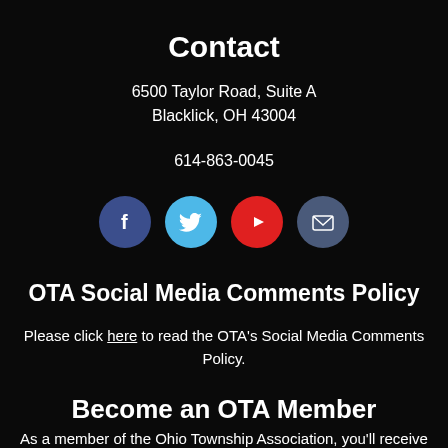Contact
6500 Taylor Road, Suite A
Blacklick, OH 43004
614-863-0045
[Figure (infographic): Four circular social media icons: Facebook (dark blue), Twitter (light blue), YouTube (red), Email (dark blue-gray)]
OTA Social Media Comments Policy
Please click here to read the OTA's Social Media Comments Policy.
Become an OTA Member
As a member of the Ohio Township Association, you'll receive legislative support, OTA publications, training